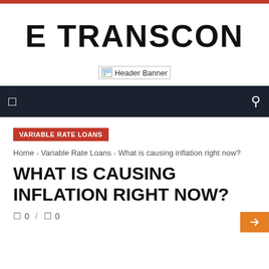E TRANSCON
[Figure (other): Header Banner placeholder image with broken image icon]
Navigation bar with menu and search icons
VARIABLE RATE LOANS
Home › Variable Rate Loans › What is causing inflation right now?
WHAT IS CAUSING INFLATION RIGHT NOW?
0 / 0